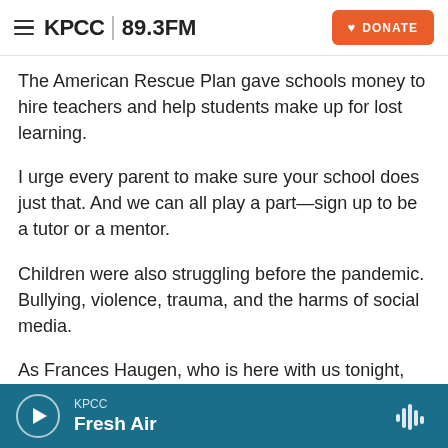KPCC 89.3FM | DONATE
The American Rescue Plan gave schools money to hire teachers and help students make up for lost learning.
I urge every parent to make sure your school does just that. And we can all play a part—sign up to be a tutor or a mentor.
Children were also struggling before the pandemic. Bullying, violence, trauma, and the harms of social media.
As Frances Haugen, who is here with us tonight, has shown, we must hold social media platforms
KPCC | Fresh Air